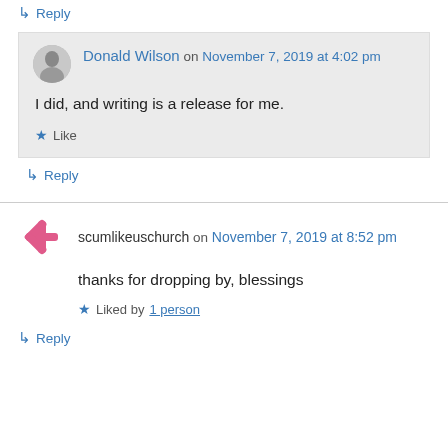↳ Reply
Donald Wilson on November 7, 2019 at 4:02 pm
I did, and writing is a release for me.
★ Like
↳ Reply
scumlikeuschurch on November 7, 2019 at 8:52 pm
thanks for dropping by, blessings
★ Liked by 1 person
↳ Reply